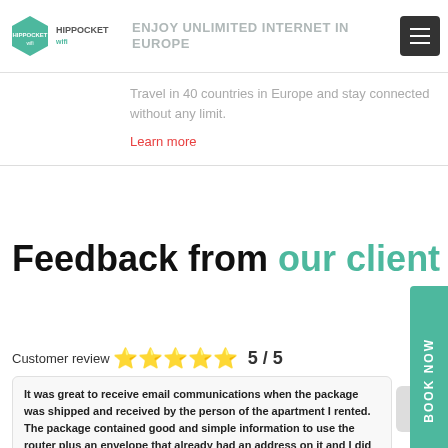ENJOY UNLIMITED INTERNET IN EUROPE
Travel in 40 countries in Europe and stay connected without any limit.
Learn more
Feedback from our clients
Customer review ⭐⭐⭐⭐⭐ 5 / 5
It was great to receive email communications when the package was shipped and received by the person of the apartment I rented. The package contained good and simple information to use the router plus an envelope that already had an address on it and I did not even have to write anything, but seal and post to return! It was also nice to know by email that the the package was returned safely.